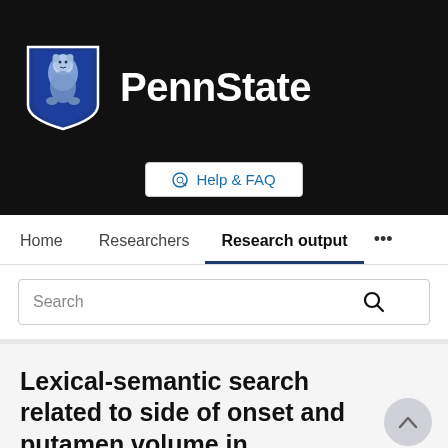[Figure (logo): Penn State university logo with lion shield and PennState wordmark on dark background]
Help & FAQ
Home   Researchers   Research output   ...
Search
Lexical-semantic search related to side of onset and putamen volume in Parkinson's disease